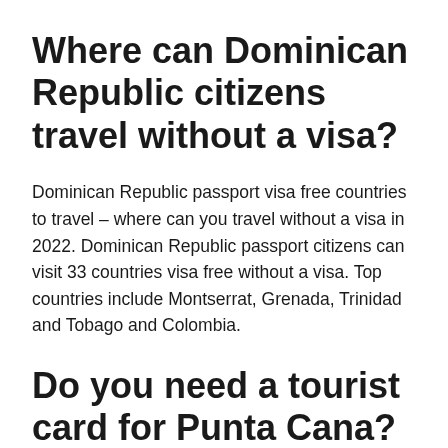Where can Dominican Republic citizens travel without a visa?
Dominican Republic passport visa free countries to travel – where can you travel without a visa in 2022. Dominican Republic passport citizens can visit 33 countries visa free without a visa. Top countries include Montserrat, Grenada, Trinidad and Tobago and Colombia.
Do you need a tourist card for Punta Cana?
Do I need a tourist card to go to the